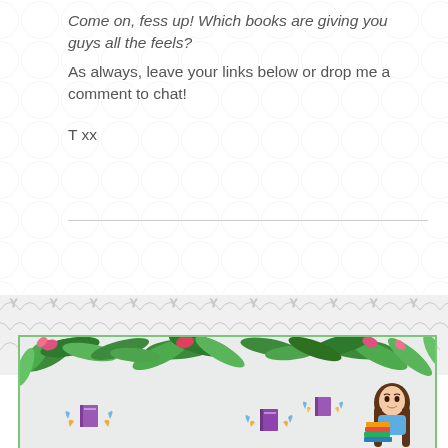Come on, fess up! Which books are giving you guys all the feels?
As always, leave your links below or drop me a comment to chat!
T xx
[Figure (illustration): Decorative banner with tropical leaves and flowers at top, small illustrated books with wings flying, and a cartoon woman with long brown hair holding a stack of books, on a light grey background with a green border.]